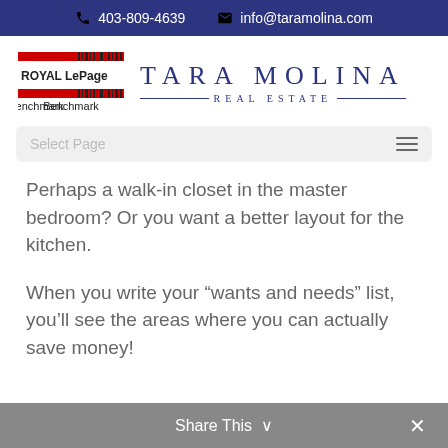403-809-4639  info@taramolina.com
[Figure (logo): Royal LePage Benchmark logo and Tara Molina Real Estate text logo]
Select Page
Perhaps a walk-in closet in the master bedroom? Or you want a better layout for the kitchen.
When you write your “wants and needs” list, you’ll see the areas where you can actually save money!
Share This  ✕